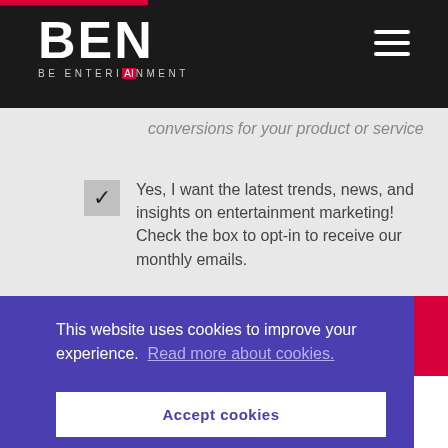[Figure (logo): BEN logo - BE ENTERTAINMENT in dark header bar with red accent bar and hamburger menu]
conversions for your product or service
Yes, I want the latest trends, news, and insights on entertainment marketing! Check the box to opt-in to receive our monthly emails.
This website uses cookies to improve your experience.  Read more about cookies.
Accept cookies